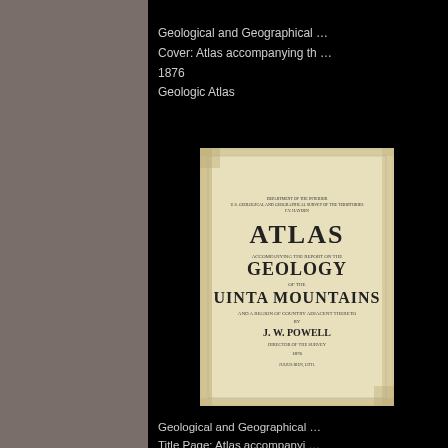Geological and Geographical ...
Cover: Atlas accompanying th …
1876
Geologic Atlas
[Figure (photo): Scanned cover/title page of an 1876 Atlas book showing text: ATLAS accompanying the report of the GEOLOGY of the UINTA MOUNTAINS and a region of country adjacent thereto by J.W. POWELL, 1876]
Geological and Geographical ...
Title Page: Atlas accompanyi …
1876
Geologic Atlas
1-9 of 9